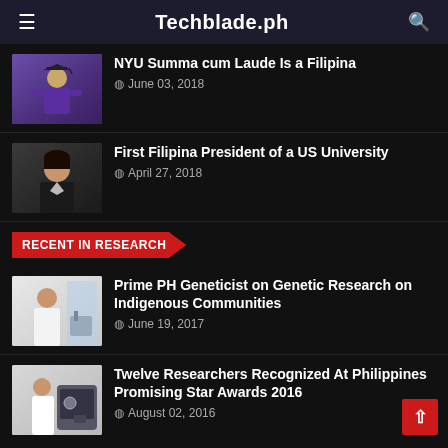Techblade.ph
NYU Summa cum Laude Is a Filipina — June 03, 2018
First Filipina President of a US University — April 27, 2018
RECENT IN RESEARCH
Prime PH Geneticist on Genetic Research on Indigenous Communities — June 19, 2017
Twelve Researchers Recognized At Philippines Promising Star Awards 2016 — August 02, 2016